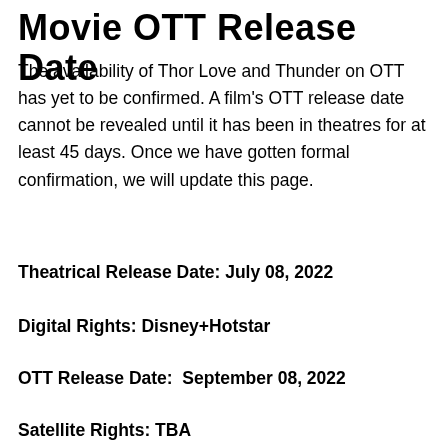Movie OTT Release Date
The availability of Thor Love and Thunder on OTT has yet to be confirmed. A film’s OTT release date cannot be revealed until it has been in theatres for at least 45 days. Once we have gotten formal confirmation, we will update this page.
Theatrical Release Date: July 08, 2022
Digital Rights: Disney+Hotstar
OTT Release Date:  September 08, 2022
Satellite Rights: TBA